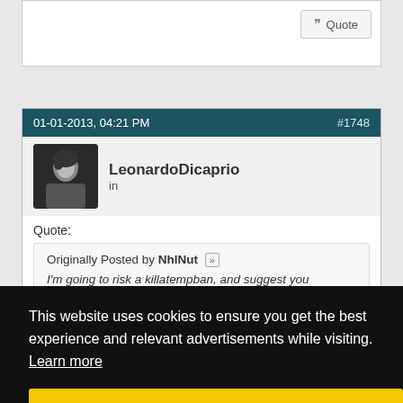[Figure (screenshot): Forum post interface showing a Quote button at the top right of a post.]
01-01-2013, 04:21 PM
#1748
LeonardoDicaprio
in
Quote:
Originally Posted by NhlNut
I'm going to risk a killatempban, and suggest you consider this thread.
This website uses cookies to ensure you get the best experience and relevant advertisements while visiting. Learn more
Got it!
01-01-2013, 04:24 PM
#1749